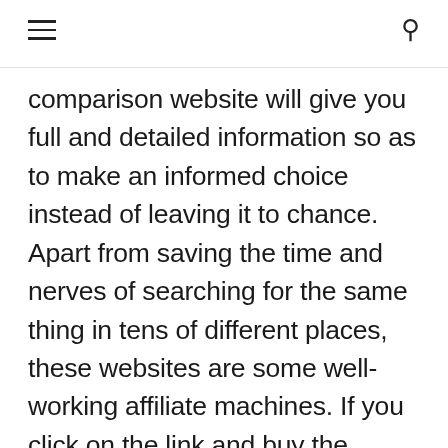comparison website will give you full and detailed information so as to make an informed choice instead of leaving it to chance. Apart from saving the time and nerves of searching for the same thing in tens of different places, these websites are some well-working affiliate machines. If you click on the link and buy the product, the price comparison website will earn a commission for sending a client to the concrete online store. Easy and simple.